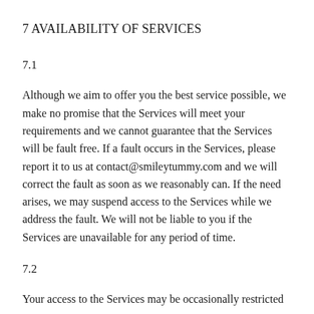7 AVAILABILITY OF SERVICES
7.1
Although we aim to offer you the best service possible, we make no promise that the Services will meet your requirements and we cannot guarantee that the Services will be fault free. If a fault occurs in the Services, please report it to us at contact@smileytummy.com and we will correct the fault as soon as we reasonably can. If the need arises, we may suspend access to the Services while we address the fault. We will not be liable to you if the Services are unavailable for any period of time.
7.2
Your access to the Services may be occasionally restricted to